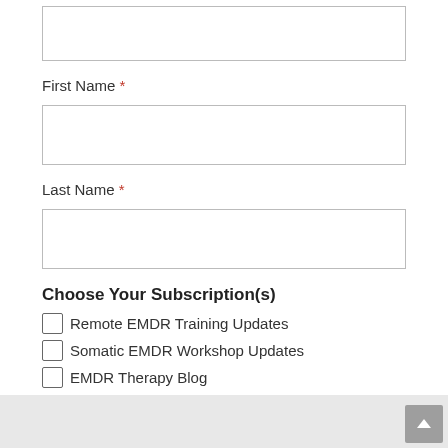(input box - top, partially visible)
First Name *
(First Name input box)
Last Name *
(Last Name input box)
Choose Your Subscription(s)
Remote EMDR Training Updates
Somatic EMDR Workshop Updates
EMDR Therapy Blog
Subscribe